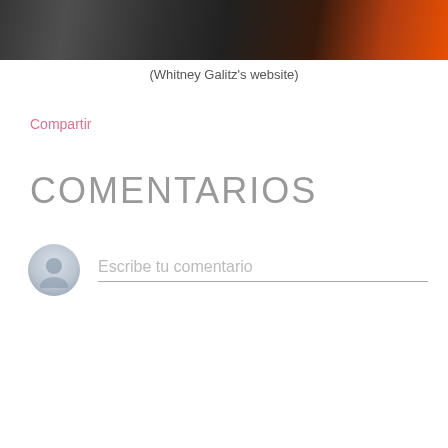[Figure (photo): Partial photo strip showing people and a dark background with orange/red lighting]
(Whitney Galitz's website)
Compartir
COMENTARIOS
Escribe tu comentario